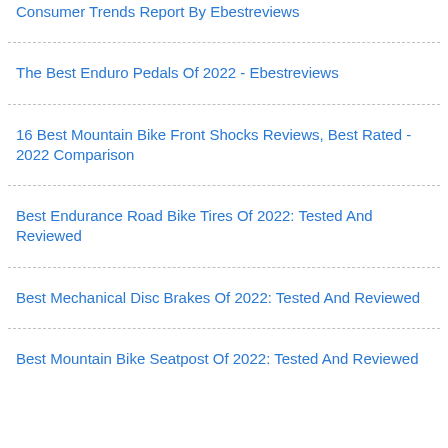Consumer Trends Report By Ebestreviews
The Best Enduro Pedals Of 2022 - Ebestreviews
16 Best Mountain Bike Front Shocks Reviews, Best Rated - 2022 Comparison
Best Endurance Road Bike Tires Of 2022: Tested And Reviewed
Best Mechanical Disc Brakes Of 2022: Tested And Reviewed
Best Mountain Bike Seatpost Of 2022: Tested And Reviewed